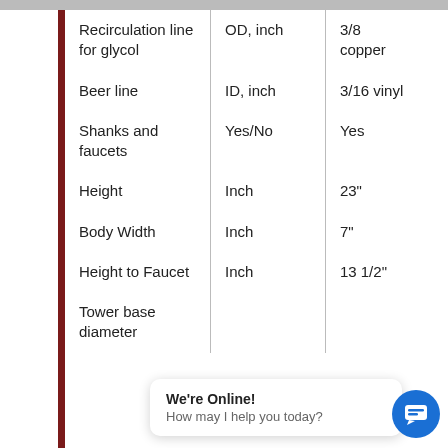| Recirculation line for glycol | OD, inch | 3/8 copper |
| Beer line | ID, inch | 3/16 vinyl |
| Shanks and faucets | Yes/No | Yes |
| Height | Inch | 23" |
| Body Width | Inch | 7" |
| Height to Faucet | Inch | 13 1/2" |
| Tower base diameter |  |  |
We're Online! How may I help you today?